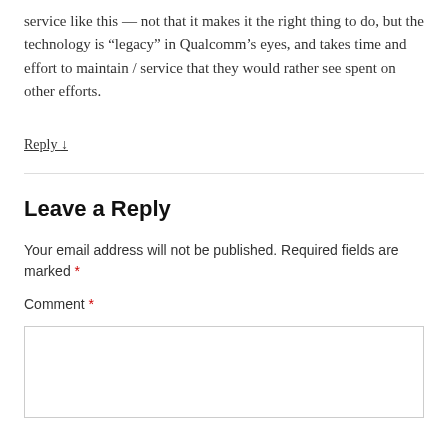service like this — not that it makes it the right thing to do, but the technology is “legacy” in Qualcomm’s eyes, and takes time and effort to maintain / service that they would rather see spent on other efforts.
Reply ↓
Leave a Reply
Your email address will not be published. Required fields are marked *
Comment *